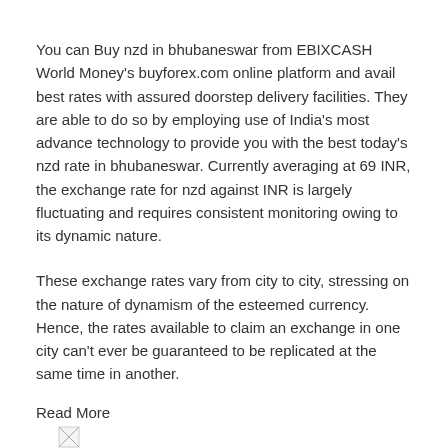You can Buy nzd in bhubaneswar from EBIXCASH World Money's buyforex.com online platform and avail best rates with assured doorstep delivery facilities. They are able to do so by employing use of India's most advance technology to provide you with the best today's nzd rate in bhubaneswar. Currently averaging at 69 INR, the exchange rate for nzd against INR is largely fluctuating and requires consistent monitoring owing to its dynamic nature.
These exchange rates vary from city to city, stressing on the nature of dynamism of the esteemed currency. Hence, the rates available to claim an exchange in one city can't ever be guaranteed to be replicated at the same time in another.
Read More
[Figure (other): Broken image placeholder icon]
Sell NZD Rate in Bhubaneswar
Now you can Sell nzd in bhubaneswar without any hassle through EBIXCASH World Money Ltd. Website and get best competitive rates for